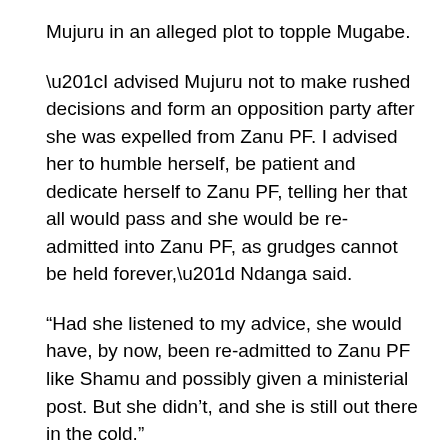Mujuru in an alleged plot to topple Mugabe.
“I advised Mujuru not to make rushed decisions and form an opposition party after she was expelled from Zanu PF. I advised her to humble herself, be patient and dedicate herself to Zanu PF, telling her that all would pass and she would be re-admitted into Zanu PF, as grudges cannot be held forever,” Ndanga said.
“Had she listened to my advice, she would have, by now, been re-admitted to Zanu PF like Shamu and possibly given a ministerial post. But she didn’t, and she is still out there in the cold.”